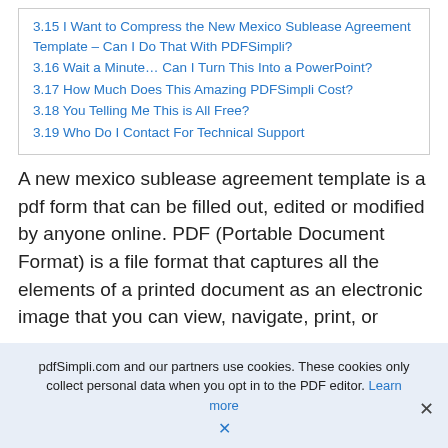3.15 I Want to Compress the New Mexico Sublease Agreement Template – Can I Do That With PDFSimpli?
3.16 Wait a Minute… Can I Turn This Into a PowerPoint?
3.17 How Much Does This Amazing PDFSimpli Cost?
3.18 You Telling Me This is All Free?
3.19 Who Do I Contact For Technical Support
A new mexico sublease agreement template is a pdf form that can be filled out, edited or modified by anyone online. PDF (Portable Document Format) is a file format that captures all the elements of a printed document as an electronic image that you can view, navigate, print, or
pdfSimpli.com and our partners use cookies. These cookies only collect personal data when you opt in to the PDF editor. Learn more ×  ×